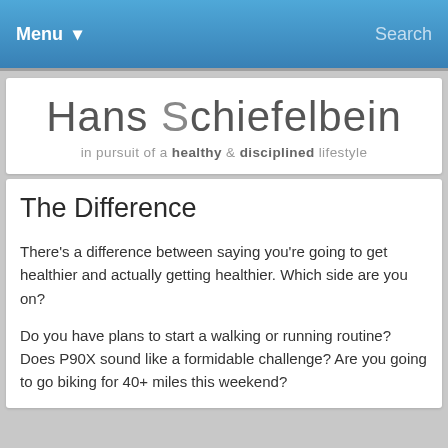Menu  Search
Hans Schiefelbein
in pursuit of a healthy & disciplined lifestyle
The Difference
There's a difference between saying you're going to get healthier and actually getting healthier.  Which side are you on?
Do you have plans to start a walking or running routine?  Does P90X sound like a formidable challenge?  Are you going to go biking for 40+ miles this weekend?